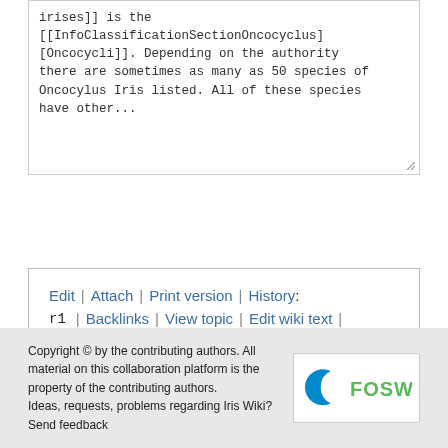irises]] is the [[InfoClassificationSectionOncocyclus][Oncocycli]]. Depending on the authority there are sometimes as many as 50 species of Oncocylus Iris listed. All of these species have other...
Edit | Attach | Print version | History: r1 | Backlinks | View topic | Edit wiki text | More topic actions
Copyright © by the contributing authors. All material on this collaboration platform is the property of the contributing authors. Ideas, requests, problems regarding Iris Wiki? Send feedback